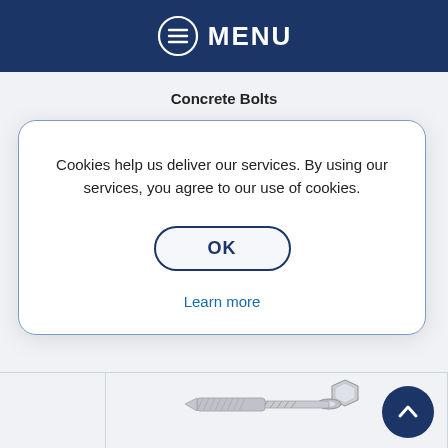MENU
Concrete Bolts
Cookies help us deliver our services. By using our services, you agree to our use of cookies.
OK
Learn more
[Figure (photo): A zinc-plated concrete bolt / anchor bolt with hex head, shown diagonally against a white background]